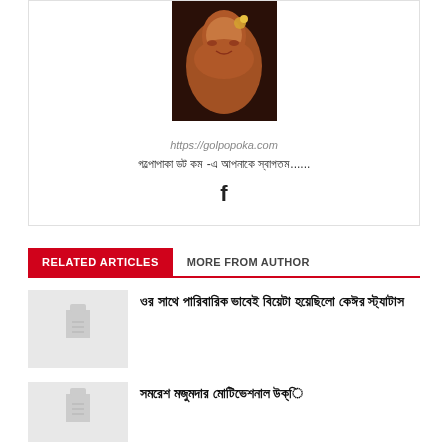[Figure (photo): Profile photo of a woman with flower in hair, warm orange tones]
https://golpopoka.com
গল্পোপাকা ডট কম -এ আপনাকে স্বাগতম......
[Figure (logo): Facebook icon (f)]
RELATED ARTICLES   MORE FROM AUTHOR
[Figure (photo): Article thumbnail placeholder]
ওর সাথে পারিবারিক ভাবেই বিয়েটা হয়েছিলো কেঈর স্ট্যাটাস
[Figure (photo): Article thumbnail placeholder 2]
সমরেশ মজুমদার মোটিভেশনাল উক্ি